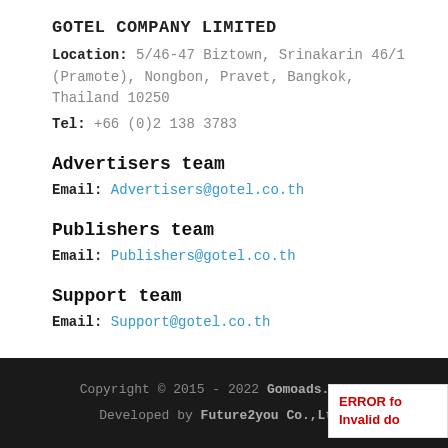GOTEL COMPANY LIMITED
Location: 5/46-47 Biztown, Srinakarin 46/1 (Pramote), Nongbon, Pravet, Bangkok, Thailand 10250
Tel: +66 (0)2 138 3783
Advertisers team
Email: Advertisers@gotel.co.th
Publishers team
Email: Publishers@gotel.co.th
Support team
Email: Support@gotel.co.th
Copyright © 2015 - 2022 Gomoads.com | Developed by Future2you Co.,Ltd.
ERROR fo... Invalid do...